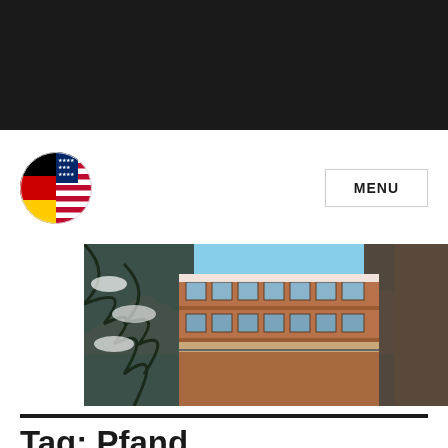[Figure (logo): Circular logo combining German flag (black, red, gold) and US flag (stars and stripes), side by side in a circle]
[Figure (photo): A modern multi-story building with large windows and terracotta/orange facade, surrounded by snow-covered evergreen trees under a blue sky]
Tag: Pfand